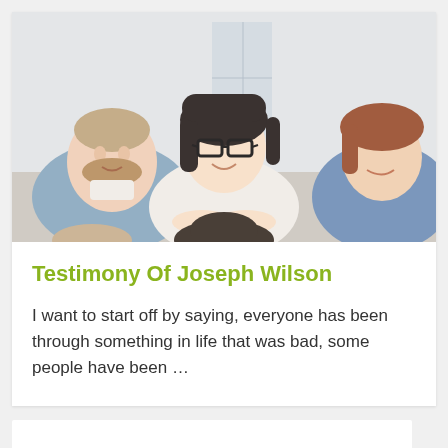[Figure (photo): Group of people sitting together in a circle, smiling and engaged in conversation. A woman with dark bob hair and glasses wearing a white shirt is in the center, a bearded man in a blue shirt is on the left, and a woman with auburn hair is on the right.]
Testimony Of Joseph Wilson
I want to start off by saying, everyone has been through something in life that was bad, some people have been …